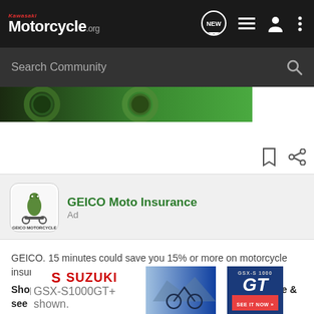Kawasaki Motorcycle.org
Search Community
[Figure (screenshot): Partial motorcycle image strip showing green motorcycle parts]
[Figure (screenshot): Bookmark and share icons]
[Figure (photo): GEICO Moto Insurance ad logo with gecko on motorcycle]
GEICO Moto Insurance
Ad
GEICO. 15 minutes could save you 15% or more on motorcycle insurance, too.
Shopping for a new bike? You could get a shiny, new quote & see how much you could save.
[Figure (photo): Suzuki GSX-S1000GT+ advertisement banner showing the motorcycle and GSX-S 1000 GT branding with SEE IT NOW button]